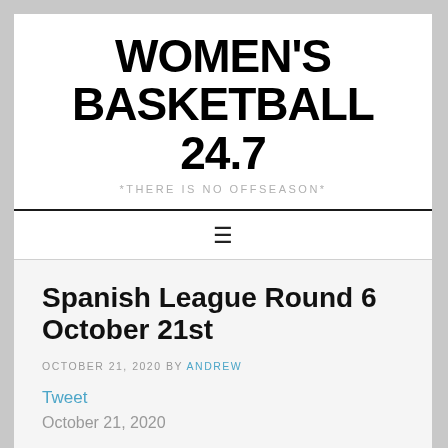WOMEN'S BASKETBALL 24.7
*THERE IS NO OFFSEASON*
Spanish League Round 6 October 21st
OCTOBER 21, 2020 BY ANDREW
Tweet
October 21, 2020